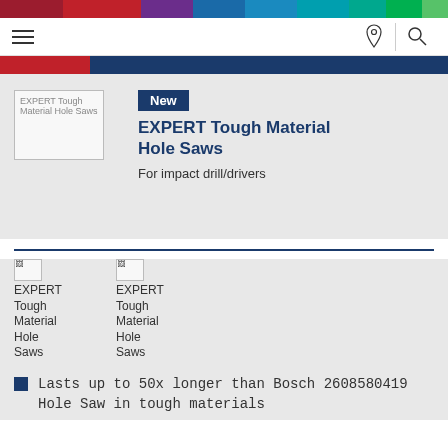[Figure (other): Colored horizontal bar strip at top of page with segments: dark red, red, purple, blue, sky blue, teal, green-teal, green, light green]
Navigation bar with hamburger menu icon, location pin icon, and search icon
[Figure (other): Red tab and dark blue horizontal bar beneath navigation]
[Figure (photo): EXPERT Tough Material Hole Saws product image placeholder]
New
EXPERT Tough Material Hole Saws
For impact drill/drivers
[Figure (photo): EXPERT Tough Material Hole Saws small thumbnail 1]
[Figure (photo): EXPERT Tough Material Hole Saws small thumbnail 2]
EXPERT Tough Material Hole Saws
EXPERT Tough Material Hole Saws
Lasts up to 50x longer than Bosch 2608580419 Hole Saw in tough materials